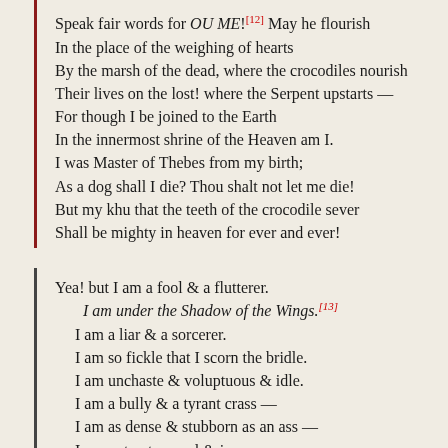Speak fair words for OU ME![12] May he flourish
In the place of the weighing of hearts
By the marsh of the dead, where the crocodiles nourish
Their lives on the lost! where the Serpent upstarts —
For though I be joined to the Earth
In the innermost shrine of the Heaven am I.
I was Master of Thebes from my birth;
As a dog shall I die? Thou shalt not let me die!
But my khu that the teeth of the crocodile sever
Shall be mighty in heaven for ever and ever!
Yea! but I am a fool & a flutterer.
I am under the Shadow of the Wings.[13]
I am a liar & a sorcerer.
I am so fickle that I scorn the bridle.
I am unchaste & voluptuous & idle.
I am a bully & a tyrant crass —
I am as dense & stubborn as an ass —
I am untrusty, cruel & insane —
I am a fool & frivolous & vain.